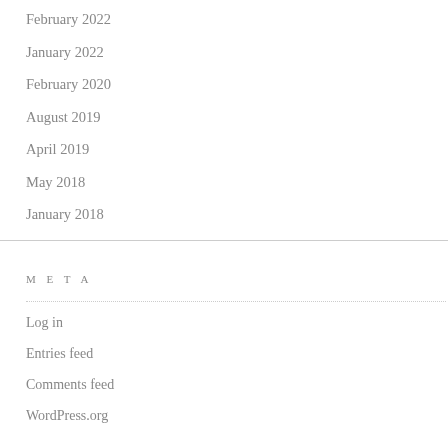February 2022
January 2022
February 2020
August 2019
April 2019
May 2018
January 2018
META
Log in
Entries feed
Comments feed
WordPress.org